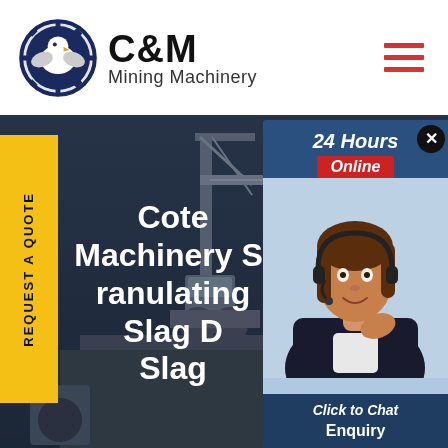[Figure (logo): C&M Mining Machinery logo with eagle in gear icon on left, bold C&M text and Mining Machinery subtitle on right]
[Figure (photo): Dark industrial mining machinery/crane silhouette against blue-grey sky, used as hero background]
REQUEST A QUOTE
Cote Machinery Slag Granulating Slag Dryer Slag
[Figure (photo): Chat widget overlay showing 24 Hours Online badge, photo of customer service representative with headset, Click to Chat button, and Enquiry text at bottom]